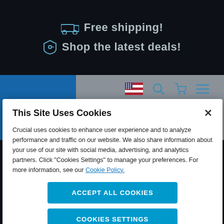[Figure (screenshot): Crucial website top banner showing delivery truck icon with 'Free shipping!' and price tag icon with 'Shop the latest deals!' text on dark background]
[Figure (logo): Crucial by Micron logo in blue box, navigation bar with US flag, search, cart, and menu icons]
This Site Uses Cookies
Crucial uses cookies to enhance user experience and to analyze performance and traffic on our website. We also share information about your use of our site with social media, advertising, and analytics partners. Click "Cookies Settings" to manage your preferences. For more information, see our Cookie Policy.
Accept All Cookies
Cookies Settings